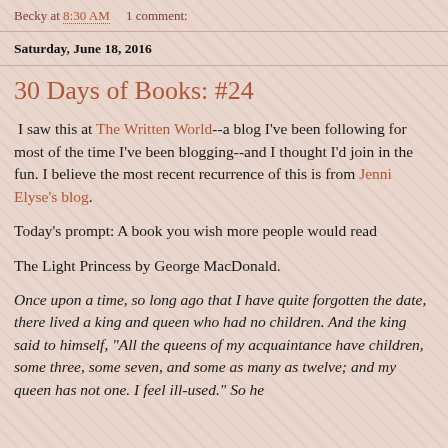Becky at 8:30 AM    1 comment:
Saturday, June 18, 2016
30 Days of Books: #24
I saw this at The Written World--a blog I've been following for most of the time I've been blogging--and I thought I'd join in the fun. I believe the most recent recurrence of this is from Jenni Elyse's blog.
Today's prompt: A book you wish more people would read
The Light Princess by George MacDonald.
Once upon a time, so long ago that I have quite forgotten the date, there lived a king and queen who had no children. And the king said to himself, "All the queens of my acquaintance have children, some three, some seven, and some as many as twelve; and my queen has not one. I feel ill-used." So he